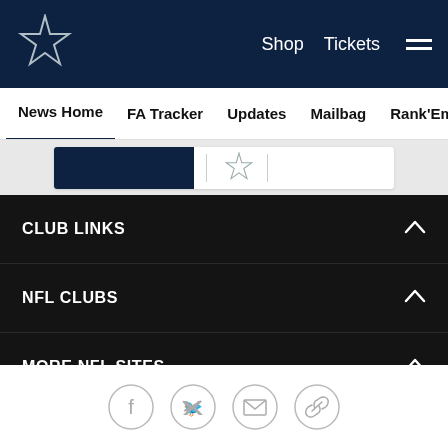Dallas Cowboys — Shop | Tickets | Navigation
News Home
FA Tracker
Updates
Mailbag
Rank'Em
Cowbuz
CLUB LINKS
NFL CLUBS
MORE NFL SITES
Download apps
Social icons: Facebook, Twitter, Email, Link